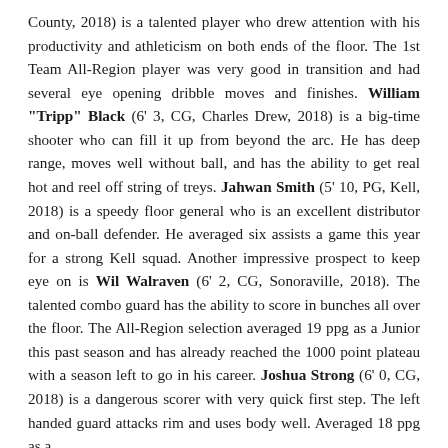County, 2018) is a talented player who drew attention with his productivity and athleticism on both ends of the floor. The 1st Team All-Region player was very good in transition and had several eye opening dribble moves and finishes. William "Tripp" Black (6' 3, CG, Charles Drew, 2018) is a big-time shooter who can fill it up from beyond the arc. He has deep range, moves well without ball, and has the ability to get real hot and reel off string of treys. Jahwan Smith (5' 10, PG, Kell, 2018) is a speedy floor general who is an excellent distributor and on-ball defender. He averaged six assists a game this year for a strong Kell squad. Another impressive prospect to keep eye on is Wil Walraven (6' 2, CG, Sonoraville, 2018). The talented combo guard has the ability to score in bunches all over the floor. The All-Region selection averaged 19 ppg as a Junior this past season and has already reached the 1000 point plateau with a season left to go in his career. Joshua Strong (6' 0, CG, 2018) is a dangerous scorer with very quick first step. The left handed guard attacks rim and uses body well. Averaged 18 ppg as a